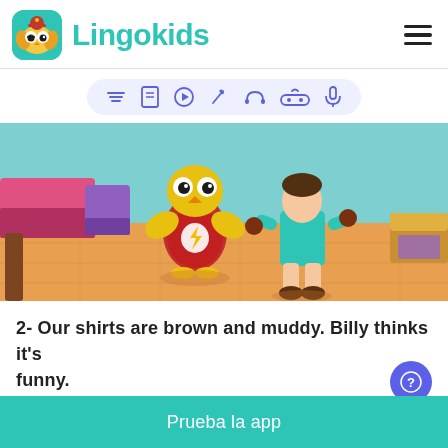Lingokids
[Figure (screenshot): Lingokids app interface showing a toolbar with icons (layers, document, play, pencil, headphones, gamepad, microphone) above a cartoon scene with animated bird character in a red Flash t-shirt and a human character in a teal outfit standing in a room with wooden floor]
2- Our shirts are brown and muddy. Billy thinks it's funny.
Prueba la app